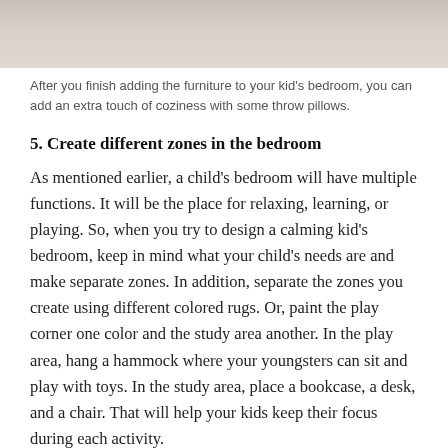[Figure (photo): Partial view of a bedroom with light-colored bedding or pillows, cropped at the top of the page.]
After you finish adding the furniture to your kid’s bedroom, you can add an extra touch of coziness with some throw pillows.
5. Create different zones in the bedroom
As mentioned earlier, a child’s bedroom will have multiple functions. It will be the place for relaxing, learning, or playing. So, when you try to design a calming kid’s bedroom, keep in mind what your child’s needs are and make separate zones. In addition, separate the zones you create using different colored rugs. Or, paint the play corner one color and the study area another. In the play area, hang a hammock where your youngsters can sit and play with toys. In the study area, place a bookcase, a desk, and a chair. That will help your kids keep their focus during each activity.